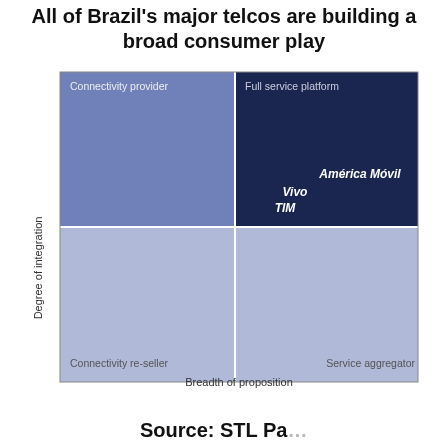All of Brazil's major telcos are building a broad consumer play
[Figure (other): 2x2 matrix diagram with axes 'Degree of integration' (y-axis) and 'Breadth of proposition' (x-axis). Four quadrants: top-left 'Connectivity provider' (medium blue), top-right 'Full service platform' (dark navy blue) containing labels 'América Móvil', 'Vivo', 'TIM', bottom-left 'Connectivity re-seller' (light blue), bottom-right 'Service aggregator' (light blue).]
Source: STL Pa…